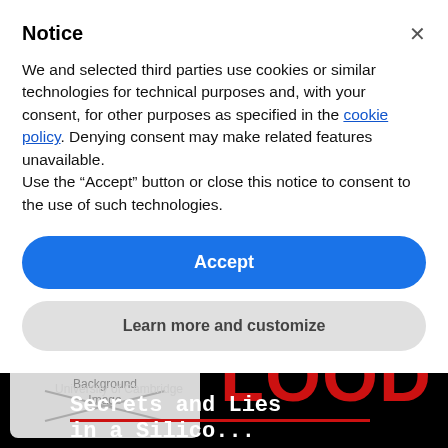Notice
We and selected third parties use cookies or similar technologies for technical purposes and, with your consent, for other purposes as specified in the cookie policy. Denying consent may make related features unavailable.
Use the “Accept” button or close this notice to consent to the use of such technologies.
Accept
Learn more and customize
[Figure (screenshot): Book cover image partially visible: background image placeholder on left, large red letters on dark background on right, white monospace text reading 'Secrets and Lies' and 'in a Silico...' with University of Cambridge label]